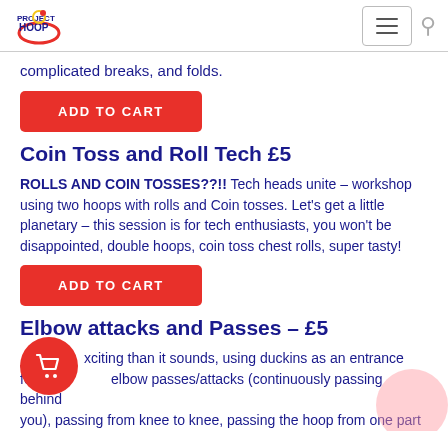Project Hoop
complicated breaks, and folds.
ADD TO CART
Coin Toss and Roll Tech £5
ROLLS AND COIN TOSSES??!! Tech heads unite – workshop using two hoops with rolls and Coin tosses. Let's get a little planetary – this session is for tech enthusiasts, you won't be disappointed, double hoops, coin toss chest rolls, super tasty!
ADD TO CART
Elbow attacks and Passes – £5
Way more exciting than it sounds, using duckins as an entrance for some elbow passes/attacks (continuously passing behind you), passing from knee to knee, passing the hoop from one part